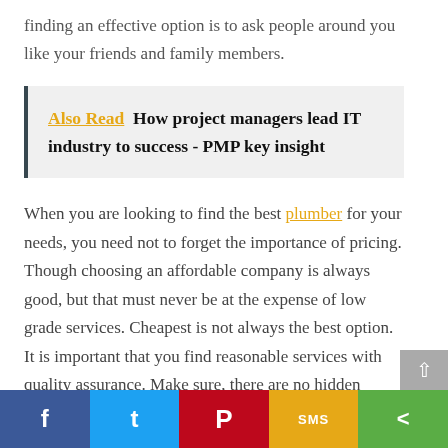finding an effective option is to ask people around you like your friends and family members.
Also Read  How project managers lead IT industry to success - PMP key insight
When you are looking to find the best plumber for your needs, you need not to forget the importance of pricing. Though choosing an affordable company is always good, but that must never be at the expense of low grade services. Cheapest is not always the best option. It is important that you find reasonable services with quality assurance. Make sure, there are no hidden